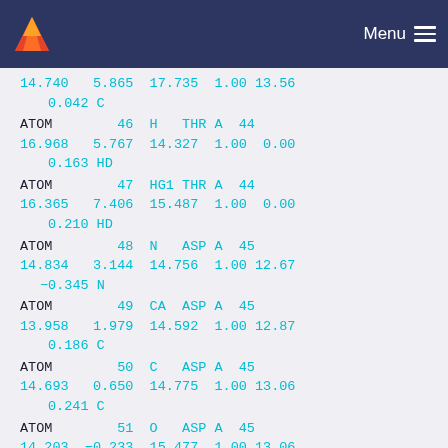Menu
14.740   5.865  17.735  1.00 13.56
   0.042 C
ATOM        46  H   THR A  44
16.968   5.767  14.327  1.00  0.00
   0.163 HD
ATOM        47  HG1 THR A  44
16.365   7.406  15.487  1.00  0.00
   0.210 HD
ATOM        48  N   ASP A  45
14.834   3.144  14.756  1.00 12.67
  -0.345 N
ATOM        49  CA  ASP A  45
13.958   1.979  14.592  1.00 12.87
   0.186 C
ATOM        50  C   ASP A  45
14.693   0.650  14.775  1.00 13.06
   0.241 C
ATOM        51  O   ASP A  45
14.203  -0.233  15.477  1.00 13.06
  -0.271 OA